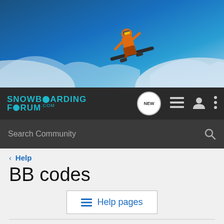[Figure (illustration): Banner image of a snowboarder in mid-air against a blue sky background with snow on the sides]
[Figure (logo): Snowboarding Forum .com logo in teal/cyan on dark navbar background]
Search Community
< Help
BB codes
≡ Help pages
[B], [I], [U], [S] - Bold, italics, underline, and strike-through
Makes the wrapped text bold, italic, underlined, or struck-